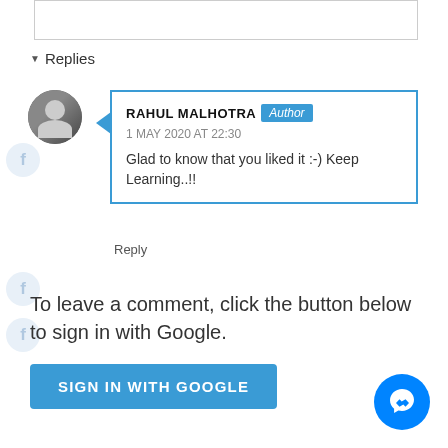Replies
RAHUL MALHOTRA Author 1 MAY 2020 AT 22:30
Glad to know that you liked it :-) Keep Learning..!!
Reply
To leave a comment, click the button below to sign in with Google.
SIGN IN WITH GOOGLE